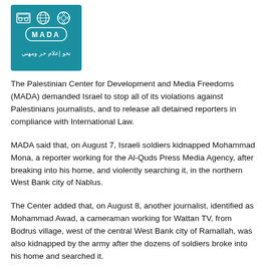[Figure (logo): MADA logo — Palestinian Center for Development and Media Freedoms logo with teal/blue background, Arabic text نحو إعلام حر ومهني]
The Palestinian Center for Development and Media Freedoms (MADA) demanded Israel to stop all of its violations against Palestinians journalists, and to release all detained reporters in compliance with International Law.
MADA said that, on August 7, Israeli soldiers kidnapped Mohammad Mona, a reporter working for the Al-Quds Press Media Agency, after breaking into his home, and violently searching it, in the northern West Bank city of Nablus.
The Center added that, on August 8, another journalist, identified as Mohammad Awad, a cameraman working for Wattan TV, from Bodrus village, west of the central West Bank city of Ramallah, was also kidnapped by the army after the dozens of soldiers broke into his home and searched it.